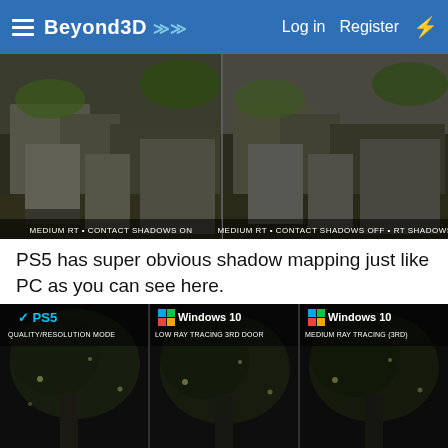Beyond3D   Log in   Register
[Figure (screenshot): Side-by-side screenshot comparison: left panel labeled 'MEDIUM RT + CONTACT SHADOWS ON', right panel labeled 'MEDIUM RT + CONTACT SHADOWS OFF + RT SHADOWS'. Both show a stone outdoor environment.]
PS5 has super obvious shadow mapping just like PC as you can see here.
[Figure (screenshot): Three-panel screenshot comparison: left panel labeled 'PS5 QUALITY/RESOLUTION MODE', middle panel labeled 'Windows 10 LOW RAY TRACING 3RD DOOR', right panel labeled 'Windows 10 MEDIUM RAY TRACING (3RD)'. All three show a dark outdoor/indoor scene.]